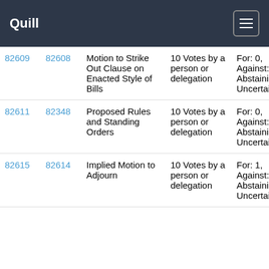Quill
| ID1 | ID2 | Description | Votes | Result |  |
| --- | --- | --- | --- | --- | --- |
| 82609 | 82608 | Motion to Strike Out Clause on Enacted Style of Bills | 10 Votes by a person or delegation | For: 0, Against: 0, Abstaining: 0, Uncertain: 10 | Ab |
| 82611 | 82348 | Proposed Rules and Standing Orders | 10 Votes by a person or delegation | For: 0, Against: 0, Abstaining: 0, Uncertain: 10 | Ab |
| 82615 | 82614 | Implied Motion to Adjourn | 10 Votes by a person or delegation | For: 1, Against: 0, Abstaining: 0, Uncertain: 9 | Ab |